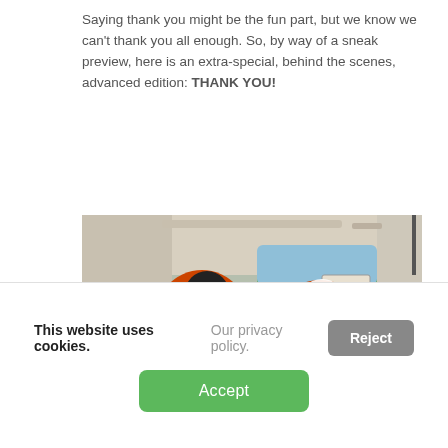Saying thank you might be the fun part, but we know we can't thank you all enough. So, by way of a sneak preview, here is an extra-special, behind the scenes, advanced edition: THANK YOU!
[Figure (photo): Two rescue workers in orange flight suits sitting inside a helicopter cabin, both giving thumbs up and smiling. An EXIT sign is visible in the background near the open door showing green trees outside.]
This website uses cookies. Our privacy policy.
Reject
Accept